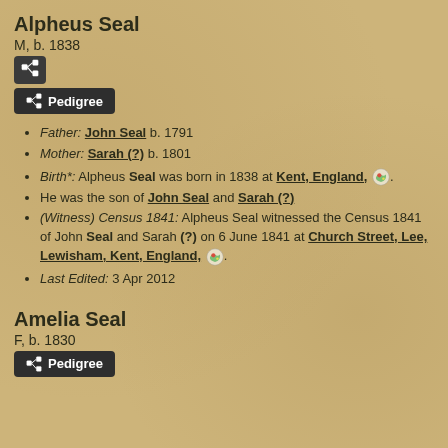Alpheus Seal
M, b. 1838
Father: John Seal b. 1791
Mother: Sarah (?) b. 1801
Birth*: Alpheus Seal was born in 1838 at Kent, England,.
He was the son of John Seal and Sarah (?)
(Witness) Census 1841: Alpheus Seal witnessed the Census 1841 of John Seal and Sarah (?) on 6 June 1841 at Church Street, Lee, Lewisham, Kent, England,.
Last Edited: 3 Apr 2012
Amelia Seal
F, b. 1830